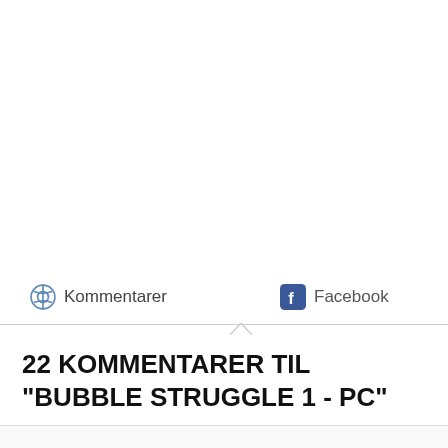Kommentarer   Facebook
22 KOMMENTARER TIL "BUBBLE STRUGGLE 1 - PC"